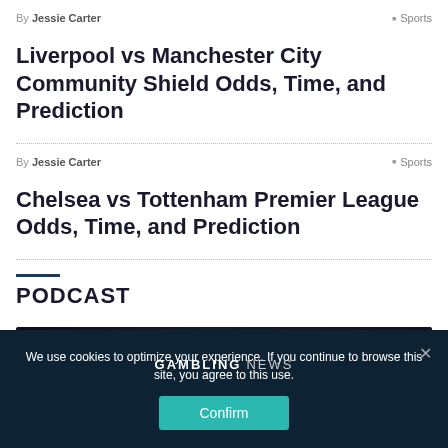By Jessie Carter | Sports
Liverpool vs Manchester City Community Shield Odds, Time, and Prediction
By Jessie Carter | Sports
Chelsea vs Tottenham Premier League Odds, Time, and Prediction
PODCAST
[Figure (screenshot): Gambling News podcast banner with dark background and curved light lines]
We use cookies to optimize your experience. If you continue to browse this site, you agree to this use.